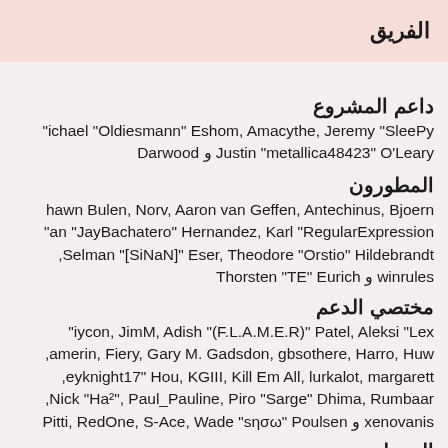الفريق
داعم المشروع
Michael "Oldiesmann" Eshom, Amacythe, Jeremy "SleePy" Darwood و Justin "metallica48423" O'Leary
المطورون
Shawn Bulen, Norv, Aaron van Geffen, Antechinus, BjoernMan "JayBachatero" Hernandez, Karl "RegularExpression" Selman "[SiNaN]" Eser, Theodore "Orstio" Hildebrandt, Thorsten "TE" Eurich و winrules
مختصي الدعم
Aiycon, JimM, Adish "(F.L.A.M.E.R)" Patel, Aleksi "Lex" Kamerin, Fiery, Gary M. Gadsdon, gbsothere, Harro, Huw, eyknight17" Hou, KGIII, Kill Em All, lurkalot, margarett, Nick "Ha²", Paul_Pauline, Piro "Sarge" Dhima, Rumbaar, xenovanis و Pitti, RedOne, S-Ace, Wade "sησω" Poulsen
المعدلون
" Valentin, Brad "IchBin™" Grow, 🎮1031, Brannon "B" 15, Eren Yasarkurt, Gwenwyfar, Jason "JBlaze" Clemons, hew "Labradoodle-360" Kerle, Mick., NanoSector, nend, opicer, Ricky., snork13, Spuds, Steven "Fustrate" Hoffman
كتاب الوثائق